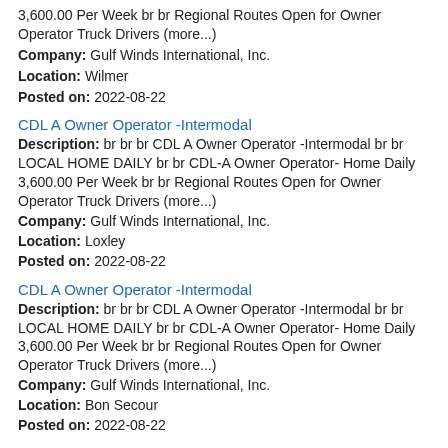3,600.00 Per Week br br Regional Routes Open for Owner Operator Truck Drivers (more...)
Company: Gulf Winds International, Inc.
Location: Wilmer
Posted on: 2022-08-22
CDL A Owner Operator -Intermodal
Description: br br br CDL A Owner Operator -Intermodal br br LOCAL HOME DAILY br br CDL-A Owner Operator- Home Daily 3,600.00 Per Week br br Regional Routes Open for Owner Operator Truck Drivers (more...)
Company: Gulf Winds International, Inc.
Location: Loxley
Posted on: 2022-08-22
CDL A Owner Operator -Intermodal
Description: br br br CDL A Owner Operator -Intermodal br br LOCAL HOME DAILY br br CDL-A Owner Operator- Home Daily 3,600.00 Per Week br br Regional Routes Open for Owner Operator Truck Drivers (more...)
Company: Gulf Winds International, Inc.
Location: Bon Secour
Posted on: 2022-08-22
CDL A Owner Operator -Intermodal
Description: br br br CDL A Owner Operator -Intermodal br br LOCAL HOME DAILY br br CDL-A Owner Operator- Home Daily